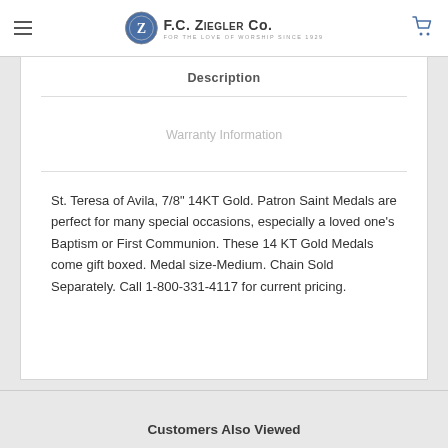F.C. Ziegler Co. — For the Love of Worship Since 1929
Description
Warranty Information
St. Teresa of Avila, 7/8" 14KT Gold. Patron Saint Medals are perfect for many special occasions, especially a loved one's Baptism or First Communion. These 14 KT Gold Medals come gift boxed. Medal size-Medium. Chain Sold Separately. Call 1-800-331-4117 for current pricing.
Customers Also Viewed